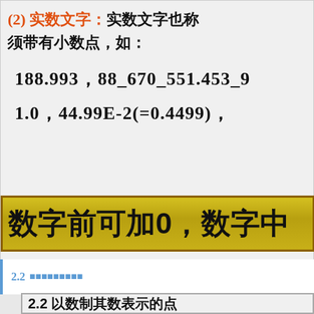(2) 实数文字：实数文字也称须带有小数点，如：
188.993，88_670_551.453_9
1.0，44.99E-2(=0.4499)，
数字前可加0，数字中
2.2 以数制其数表示的点
2.2 以数制其数表示的点